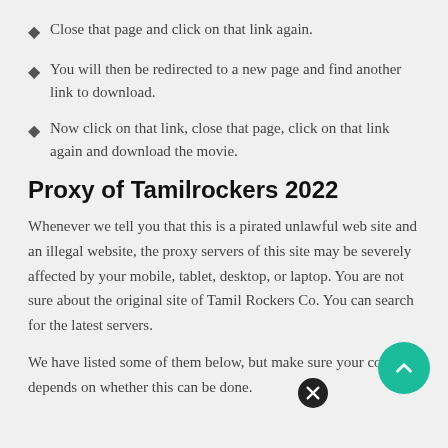Close that page and click on that link again.
You will then be redirected to a new page and find another link to download.
Now click on that link, close that page, click on that link again and download the movie.
Proxy of Tamilrockers 2022
Whenever we tell you that this is a pirated unlawful web site and an illegal website, the proxy servers of this site may be severely affected by your mobile, tablet, desktop, or laptop. You are not sure about the original site of Tamil Rockers Co. You can search for the latest servers.
We have listed some of them below, but make sure your country depends on whether this can be done.